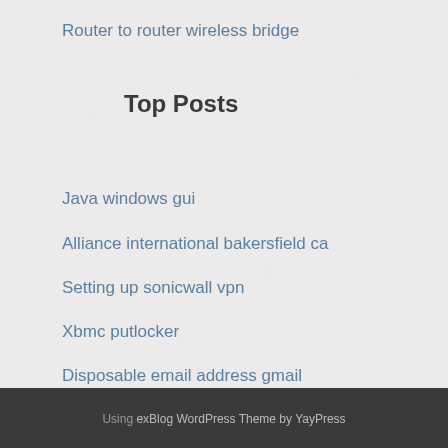Router to router wireless bridge
Top Posts
Java windows gui
Alliance international bakersfield ca
Setting up sonicwall vpn
Xbmc putlocker
Disposable email address gmail
Using exBlog WordPress Theme by YayPress